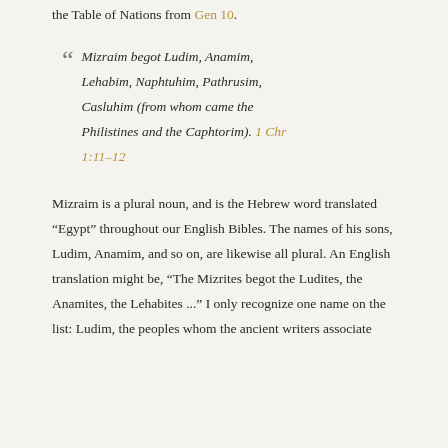the Table of Nations from Gen 10.
Mizraim begot Ludim, Anamim, Lehabim, Naphtuhim, Pathrusim, Casluhim (from whom came the Philistines and the Caphtorim). 1 Chr 1:11–12
Mizraim is a plural noun, and is the Hebrew word translated “Egypt” throughout our English Bibles. The names of his sons, Ludim, Anamim, and so on, are likewise all plural. An English translation might be, “The Mizrites begot the Ludites, the Anamites, the Lehabites ...” I only recognize one name on the list: Ludim, the peoples whom the ancient writers associate